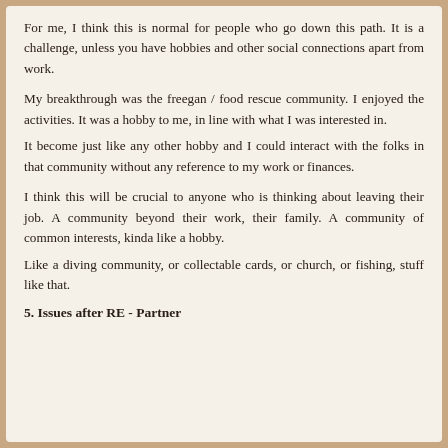For me, I think this is normal for people who go down this path. It is a challenge, unless you have hobbies and other social connections apart from work.
My breakthrough was the freegan / food rescue community. I enjoyed the activities. It was a hobby to me, in line with what I was interested in.
It become just like any other hobby and I could interact with the folks in that community without any reference to my work or finances.
I think this will be crucial to anyone who is thinking about leaving their job. A community beyond their work, their family. A community of common interests, kinda like a hobby.
Like a diving community, or collectable cards, or church, or fishing, stuff like that.
5. Issues after RE - Partner